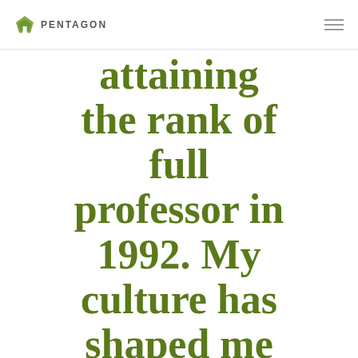PENTAGON
attaining the rank of full professor in 1992. My culture has shaped me to be sure my kids remember that their dad is easy would be so much passion for